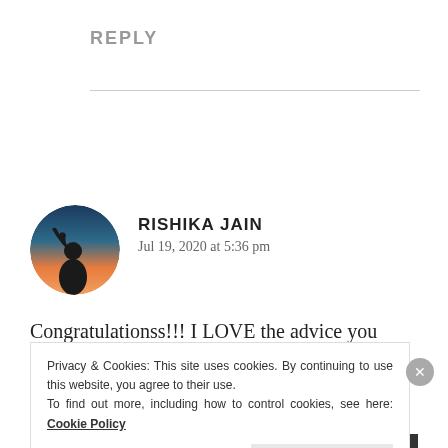REPLY
[Figure (photo): Circular avatar photo of a person silhouette against a sunset sky]
RISHIKA JAIN
Jul 19, 2020 at 5:36 pm
Congratulationss!!! I LOVE the advice you have
Privacy & Cookies: This site uses cookies. By continuing to use this website, you agree to their use.
To find out more, including how to control cookies, see here: Cookie Policy
Close and accept